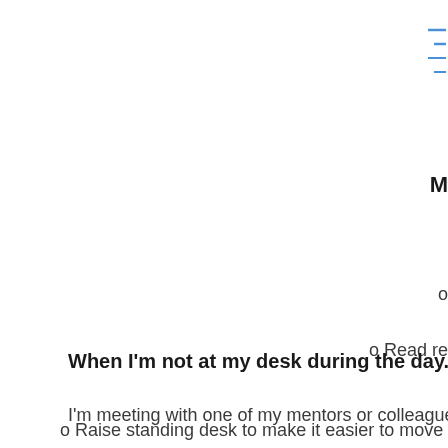o
o Read re
o Raise standing desk to make it easier to move abo
o Begin worki
When I'm not at my desk during the day...
I'm meeting with one of my mentors or colleagues.  A number of my